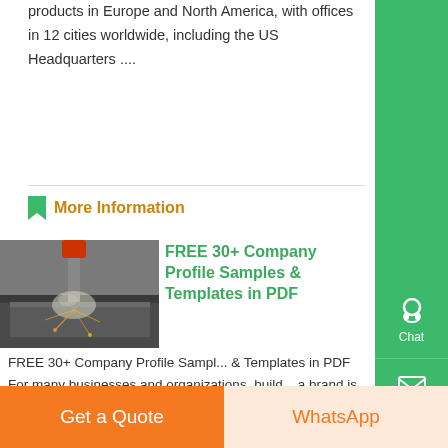products in Europe and North America, with offices in 12 cities worldwide, including the US Headquarters ....
More Information
FREE 30+ Company Profile Samples & Templates in PDF
[Figure (photo): Close-up of a CNC drill bit machining a metal part with smoke/sparks]
FREE 30+ Company Profile Samples & Templates in PDF For many businesses and organizations, building a brand is an essential process that every business owner should do, especially for new companies who a...